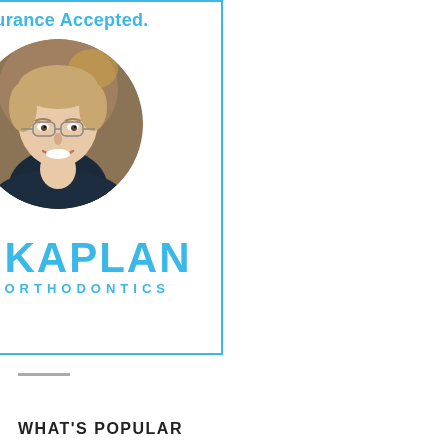Insurance Accepted.
[Figure (photo): Circular headshot photo of a smiling young man with short blonde hair wearing a dark navy polo shirt, professional orthodontist portrait]
[Figure (logo): Kaplan Orthodontics logo: a blue circle with white K letter on the left, and the text KAPLAN in large bold blue letters with ORTHODONTICS in smaller spaced blue letters below]
WHAT'S POPULAR